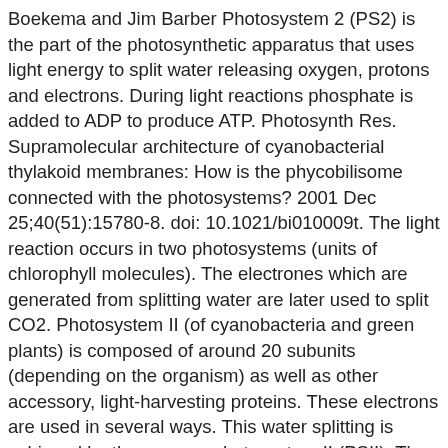Boekema and Jim Barber Photosystem 2 (PS2) is the part of the photosynthetic apparatus that uses light energy to split water releasing oxygen, protons and electrons. During light reactions phosphate is added to ADP to produce ATP. Photosynth Res. Supramolecular architecture of cyanobacterial thylakoid membranes: How is the phycobilisome connected with the photosystems? 2001 Dec 25;40(51):15780-8. doi: 10.1021/bi010009t. The light reaction occurs in two photosystems (units of chlorophyll molecules). The electrones which are generated from splitting water are later used to split CO2. Photosystem II (of cyanobacteria and green plants) is composed of around 20 subunits (depending on the organism) as well as other accessory, light-harvesting proteins. These electrons are used in several ways. This water splitting is achieved by the enzyme photosystem II (PSII). The general formula is: The Photosystem II is the focus of the research by the